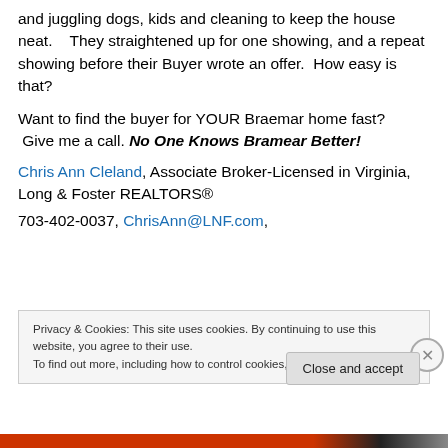and juggling dogs, kids and cleaning to keep the house neat.    They straightened up for one showing, and a repeat showing before their Buyer wrote an offer.  How easy is that?
Want to find the buyer for YOUR Braemar home fast?  Give me a call. No One Knows Bramear Better!
Chris Ann Cleland, Associate Broker-Licensed in Virginia, Long & Foster REALTORS®
703-402-0037, ChrisAnn@LNF.com,
Privacy & Cookies: This site uses cookies. By continuing to use this website, you agree to their use. To find out more, including how to control cookies, see here: Cookie Policy